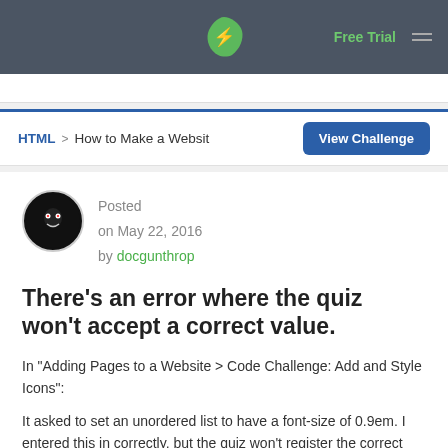Free Trial
HTML > How to Make a Website   View Challenge
Posted on May 22, 2016 by docgunthrop
There's an error where the quiz won't accept a correct value.
In "Adding Pages to a Website > Code Challenge: Add and Style Icons":
It asked to set an unordered list to have a font-size of 0.9em. I entered this in correctly, but the quiz won't register the correct answer.